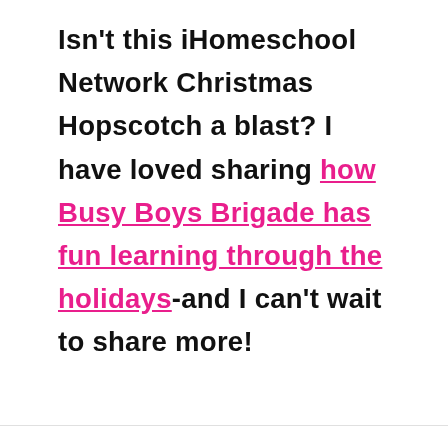Isn't this iHomeschool Network Christmas Hopscotch a blast? I have loved sharing how Busy Boys Brigade has fun learning through the holidays-and I can't wait to share more!
[Figure (screenshot): Three circular UI buttons on the right side: an upward chevron button (gray), a count of 8, a heart/favorite button (gray), and a pink search button with magnifying glass icon.]